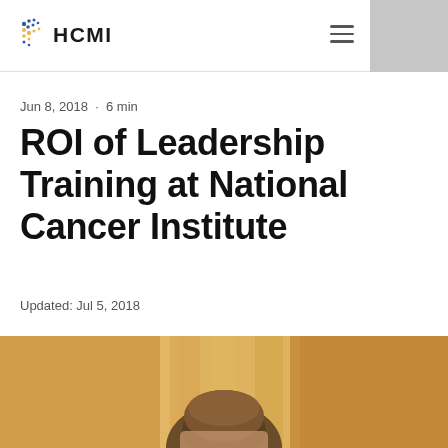HCMI
Jun 8, 2018 · 6 min
ROI of Leadership Training at National Cancer Institute
Updated: Jul 5, 2018
Introduction
[Figure (photo): Photo of a person sitting in a meeting or classroom setting, blurred background with warm tones]